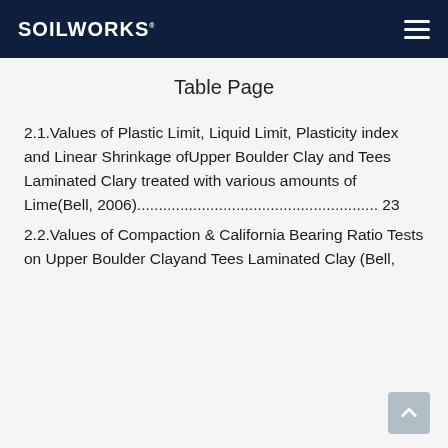SOILWORKS
Table Page
2.1.Values of Plastic Limit, Liquid Limit, Plasticity index and Linear Shrinkage ofUpper Boulder Clay and Tees Laminated Clary treated with various amounts of Lime(Bell, 2006)........................................................ 23
2.2.Values of Compaction &amp; California Bearing Ratio Tests on Upper Boulder Clayand Tees Laminated Clay (Bell,